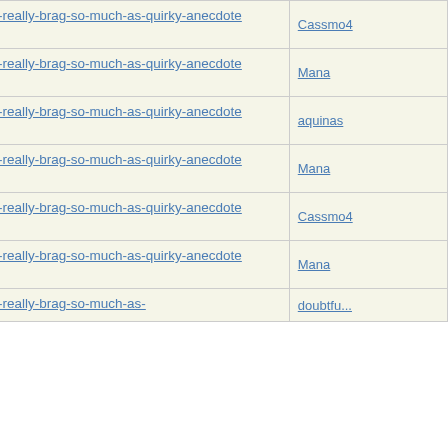| Thread | Author |
| --- | --- |
| Re: Not-really-brag-so-much-as-quirky-anecdote thread | Cassmo4 |
| Re: Not-really-brag-so-much-as-quirky-anecdote thread | Mana |
| Re: Not-really-brag-so-much-as-quirky-anecdote thread | aquinas |
| Re: Not-really-brag-so-much-as-quirky-anecdote thread | Mana |
| Re: Not-really-brag-so-much-as-quirky-anecdote thread | Cassmo4 |
| Re: Not-really-brag-so-much-as-quirky-anecdote thread | Mana |
| Re: Not-really-brag-so-much-as-quirky-anecdote thread | doubtfu... |